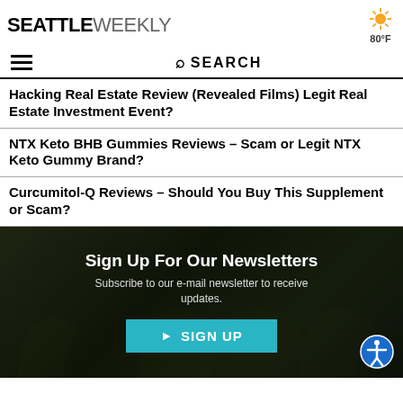SEATTLE WEEKLY — 80°F
SEARCH
Hacking Real Estate Review (Revealed Films) Legit Real Estate Investment Event?
NTX Keto BHB Gummies Reviews – Scam or Legit NTX Keto Gummy Brand?
Curcumitol-Q Reviews – Should You Buy This Supplement or Scam?
[Figure (infographic): Newsletter signup section with dark background showing forest/trees. Contains heading 'Sign Up For Our Newsletters', subtext 'Subscribe to our e-mail newsletter to receive updates.', and a teal SIGN UP button with arrow icon. Accessibility icon in bottom right corner.]